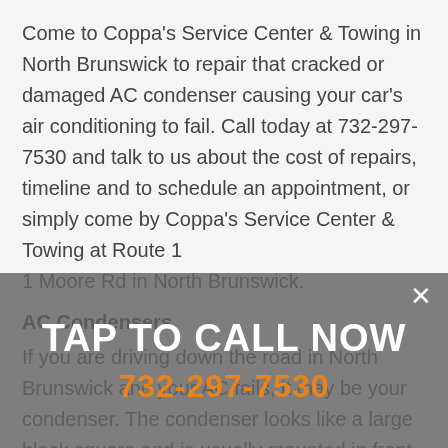Come to Coppa's Service Center & Towing in North Brunswick to repair that cracked or damaged AC condenser causing your car's air conditioning to fail. Call today at 732-297-7530 and talk to us about the cost of repairs, timeline and to schedule an appointment, or simply come by Coppa's Service Center & Towing at Route 1
1 Moore Rd in North Brunswick.
AC Condensers
If you are driving down the road in North Brunswick and your AC fails, it may be your condenser. The condenser looks like a large black square and is usually mounted in front of the radiator. Like radiators and evaporators, condensers are constructed as a series of tubes with fins around them. But unlike an evaporator, whose job is to absorb heat, the condenser's job is to release the heat your refrigerant absorbed while it was flowing through the evaporator, very much the same way the radiator releases the heat from engine coolant that the coolant absorbed while it
[Figure (other): TAP TO CALL NOW overlay banner with phone number 732-297-7530 and a close X button]